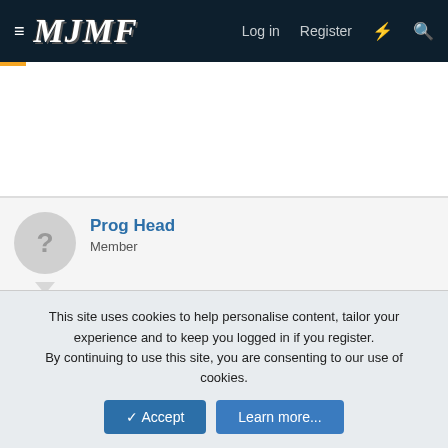MJMF — Log in | Register
Prog Head
Member
6 Nov 2020  #39
Prog Head said: (arrow up icon)
This text has been blurred out for this content.
This site uses cookies to help personalise content, tailor your experience and to keep you logged in if you register.
By continuing to use this site, you are consenting to our use of cookies.
✓ Accept   Learn more...